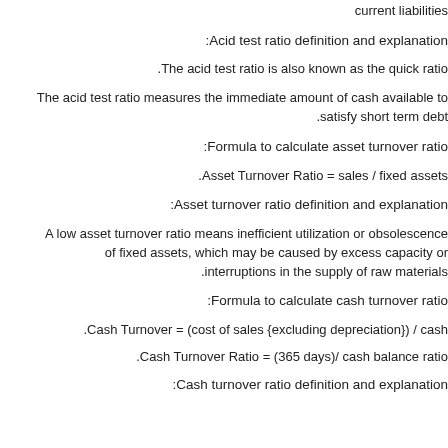current liabilities
Acid test ratio definition and explanation:
The acid test ratio is also known as the quick ratio.
The acid test ratio measures the immediate amount of cash available to satisfy short term debt.
Formula to calculate asset turnover ratio:
Asset Turnover Ratio = sales / fixed assets.
Asset turnover ratio definition and explanation:
A low asset turnover ratio means inefficient utilization or obsolescence of fixed assets, which may be caused by excess capacity or interruptions in the supply of raw materials.
Formula to calculate cash turnover ratio:
Cash Turnover = (cost of sales {excluding depreciation}) / cash.
Cash Turnover Ratio = (365 days)/ cash balance ratio.
Cash turnover ratio definition and explanation: